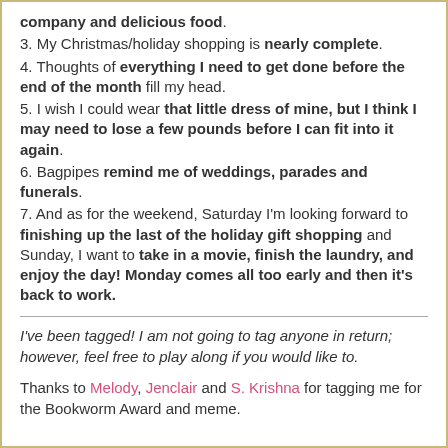company and delicious food.
3. My Christmas/holiday shopping is nearly complete.
4. Thoughts of everything I need to get done before the end of the month fill my head.
5. I wish I could wear that little dress of mine, but I think I may need to lose a few pounds before I can fit into it again.
6. Bagpipes remind me of weddings, parades and funerals.
7. And as for the weekend, Saturday I'm looking forward to finishing up the last of the holiday gift shopping and Sunday, I want to take in a movie, finish the laundry, and enjoy the day! Monday comes all too early and then it's back to work.
I've been tagged! I am not going to tag anyone in return; however, feel free to play along if you would like to.
Thanks to Melody, Jenclair and S. Krishna for tagging me for the Bookworm Award and meme.